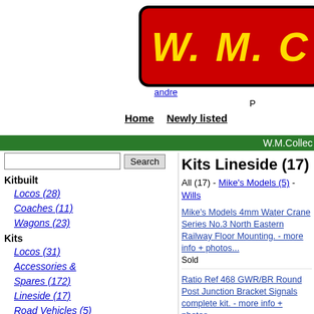[Figure (logo): W.M.C logo banner in red with yellow italic bold text reading 'W. M. C']
andrew
P
Home   Newly listed
W.M.Collec
Kitbuilt
  Locos (28)
  Coaches (11)
  Wagons (23)
Kits
  Locos (31)
  Accessories & Spares (172)
  Lineside (17)
  Road Vehicles (5)
Kits - Coaches
  Branchlines (1)
  BSL (4)
  D&S Models (7)
  Ian Kirk/Mailcoach (76)
Kits Lineside (17)
All (17) - Mike's Models (5) - Willis...
Mike's Models 4mm Water Crane Series No.3 North Eastern Railway Floor Mounting. - more info + photos...
Sold
Ratio Ref 468 GWR/BR Round Post Junction Bracket Signals complete kit. - more info + photos...
Price £9.50
GEM OO gauge Fire Buckets, Rack and Axe Chest in original bag "NEW". - more info + photos...
2 available; £7.50 each
Ratio LQ/71 LNWR Lower Quadrant Signals complete kit. - more info + photos...